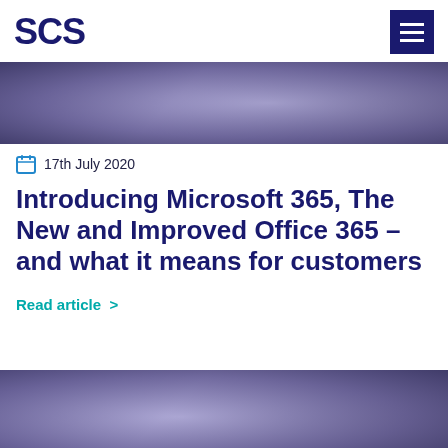SCS
[Figure (photo): Purple/blue toned abstract photo, partial view of hands or background, used as article hero image at top]
17th July 2020
Introducing Microsoft 365, The New and Improved Office 365 – and what it means for customers
Read article  >
[Figure (photo): Purple/blue toned abstract photo at bottom, partial view, second article hero image]